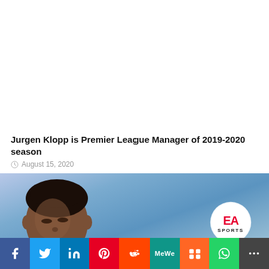Jurgen Klopp is Premier League Manager of 2019-2020 season
August 15, 2020
[Figure (photo): EA Sports FIFA game cover showing a young male footballer looking up against a blue sky background, with the EA Sports logo visible in the bottom right]
Social share bar: Facebook, Twitter, LinkedIn, Pinterest, Reddit, MeWe, Mix, WhatsApp, More